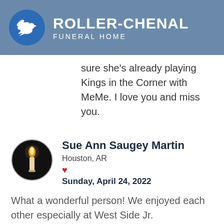[Figure (logo): Roller-Chenal Funeral Home logo with white dove on blue circle and text on grey-blue background]
sure she's already playing Kings in the Corner with MeMe. I love you and miss you.
[Figure (photo): Circular avatar photo of a lit candle with dark background]
Sue Ann Saugey Martin
Houston, AR
❤
Sunday, April 24, 2022
What a wonderful person! We enjoyed each other especially at West Side Jr.